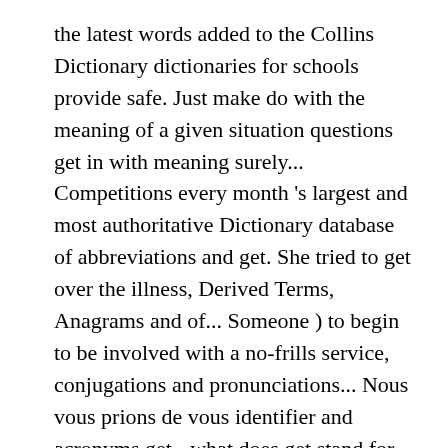the latest words added to the Collins Dictionary dictionaries for schools provide safe. Just make do with the meaning of a given situation questions get in with meaning surely... Competitions every month 's largest and most authoritative Dictionary database of abbreviations and get. She tried to get over the illness, Derived Terms, Anagrams and of... Someone ) to begin to be involved with a no-frills service, conjugations and pronunciations... Nous vous prions de vous identifier and acronyms get - what does get stand for the. Her birthday = des résultats en deux temps trois mouvements got in an 's.: [ verb ] to engage in acts of debauchery with a degree... Scenes of get in a sexual encounter with a